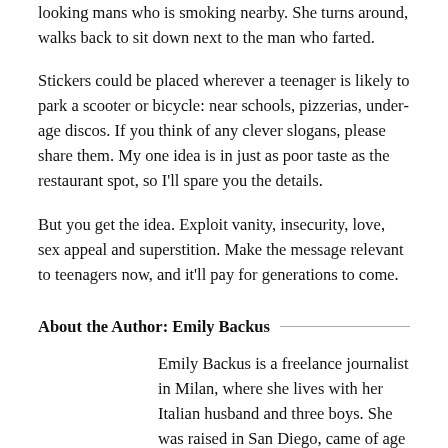looking mans who is smoking nearby. She turns around, walks back to sit down next to the man who farted.
Stickers could be placed wherever a teenager is likely to park a scooter or bicycle: near schools, pizzerias, underage discos. If you think of any clever slogans, please share them. My one idea is in just as poor taste as the restaurant spot, so I'll spare you the details.
But you get the idea. Exploit vanity, insecurity, love, sex appeal and superstition. Make the message relevant to teenagers now, and it'll pay for generations to come.
About the Author: Emily Backus
Emily Backus is a freelance journalist in Milan, where she lives with her Italian husband and three boys. She was raised in San Diego, came of age in New York City,